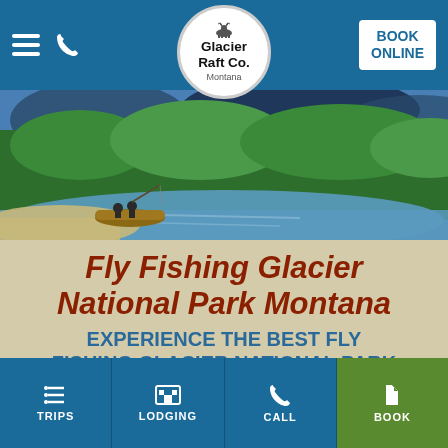Glacier Raft Co. Montana — Navigation bar with hamburger menu, phone icon, logo, and BOOK ONLINE button
[Figure (photo): Scenic river landscape with people fishing from a boat, surrounded by green forested mountains and a sandy bank]
Fly Fishing Glacier National Park Montana
EXPERIENCE THE BEST FLY FISHING GLACIER NATIONAL PARK HAS TO OFFER!
Montana is legendary for its outstanding fly fishing and the waters that provide Glacier National Park fly fishing are no exception. At
TRIPS | LODGING | CALL | BOOK